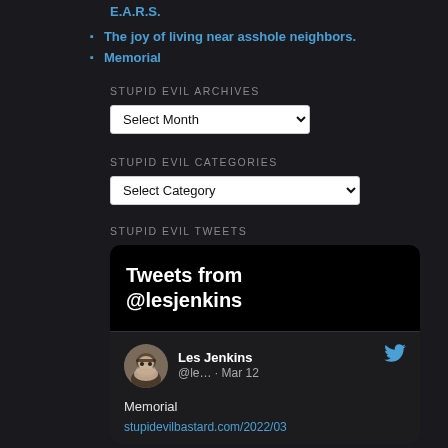E.A.R.S.
The joy of living near asshole neighbors.
Memorial
STUPID EVIL ARCHIVES
[Figure (screenshot): Dropdown selector labeled 'Select Month']
STUPID EVIL CATEGORIES
[Figure (screenshot): Dropdown selector labeled 'Select Category']
STUPID EVIL TWEETS
[Figure (screenshot): Twitter widget showing 'Tweets from @lesjenkins' header, then a tweet body with user Les Jenkins (@le... · Mar 12) and text 'Memorial stupidevilbastard.com/2022/03']